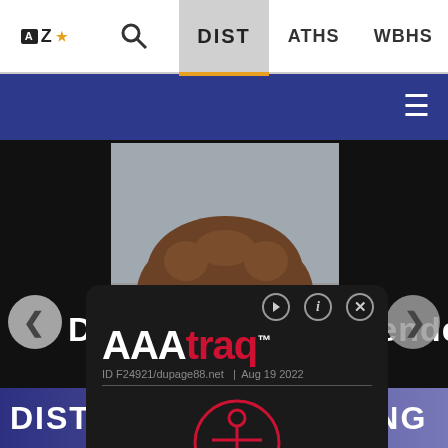AZ | Search | DIST | ATHS | WBHS
[Figure (screenshot): Blue navigation band with hamburger menu icon on the right]
[Figure (photo): Photo of a woman with curly hair in front of a gray background, partially visible]
[Figure (screenshot): AAAtraq accessibility tracking popup overlay showing logo, ID F24921/dupage88.net, Aug 19 2022, and accessibility figure icon]
D ... ntenden...
DISTRICT 88  BUILDING